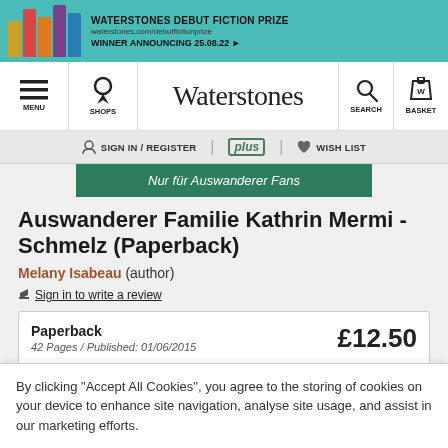[Figure (screenshot): Waterstones website top banner advertising the Waterstones Debut Fiction Prize, winner announcing 25.08.22]
[Figure (screenshot): Waterstones website navigation bar with menu, shops, logo, search, and basket icons]
[Figure (screenshot): Secondary navigation bar with Sign In / Register, plus logo, and Wish List]
[Figure (screenshot): Green banner reading Nur für Auswanderer Fans]
Auswanderer Familie Kathrin Mermi - Schmelz (Paperback)
Melany Isabeau (author)
Sign in to write a review
Paperback
42 Pages / Published: 01/06/2015
£12.50
By clicking "Accept All Cookies", you agree to the storing of cookies on your device to enhance site navigation, analyse site usage, and assist in our marketing efforts.